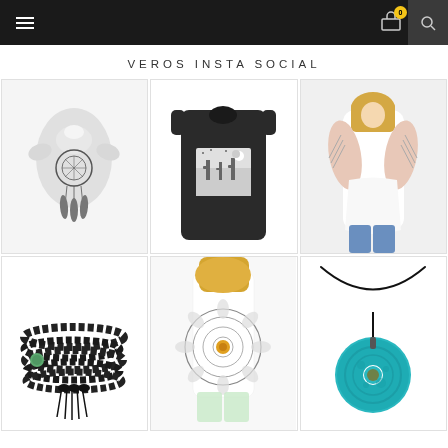Navigation bar with hamburger menu, cart with 0 items, and search icon
VEROS INSTA SOCIAL
[Figure (photo): Gray sleeveless tank top with dreamcatcher moon print and feathers]
[Figure (photo): Black sleeveless tank top with desert night scene print]
[Figure (photo): White cold-shoulder top with wing/feather print, worn by blonde model]
[Figure (photo): Black beaded wrap bracelet with green accent bead and tassels]
[Figure (photo): White tank top with mandala sun print worn by blonde model]
[Figure (photo): Teal/turquoise circular pendant necklace on black cord]